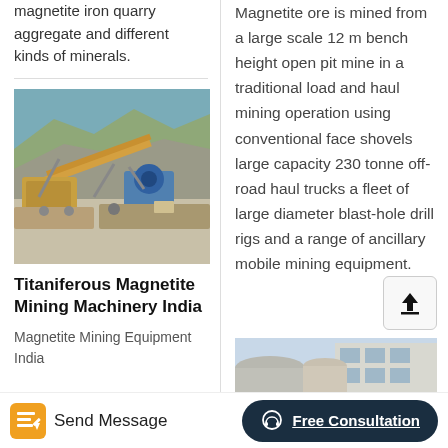magnetite iron quarry aggregate and different kinds of minerals.
[Figure (photo): Aerial view of a mining/quarrying equipment setup with conveyors and machinery in a rocky landscape.]
Titaniferous Magnetite Mining Machinery India
Magnetite Mining Equipment India
Magnetite ore is mined from a large scale 12 m bench height open pit mine in a traditional load and haul mining operation using conventional face shovels large capacity 230 tonne off-road haul trucks a fleet of large diameter blast-hole drill rigs and a range of ancillary mobile mining equipment.
[Figure (photo): Photo of large industrial cylindrical equipment or tanks outside a building.]
Send Message
Free Consultation